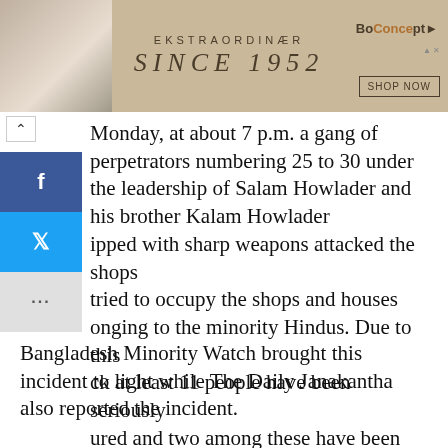[Figure (screenshot): Advertisement banner for BoConcept furniture: shows 'EKSTRAORDINÆR SINCE 1952' text with an image of a person and a SHOP NOW button]
Monday, at about 7 p.m. a gang of perpetrators numbering 25 to 30 under the leadership of Salam Howlader and his brother Kalam Howlader ipped with sharp weapons attacked the shops tried to occupy the shops and houses onging to the minority Hindus. Due to this ck at least 11 people have been seriously ured and two among these have been admitted to Patuakhali Sadar Hospital for treatment.
Bangladesh Minority Watch brought this incident to light while The Daily Janakantha also reported the incident.